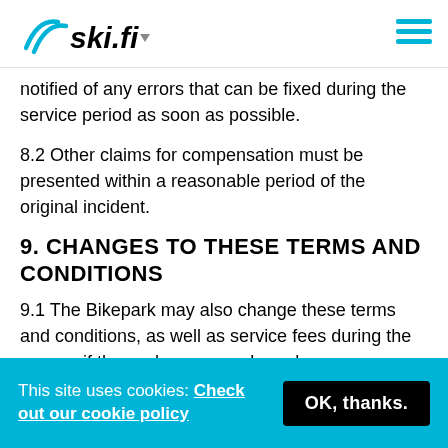ski.fi
notified of any errors that can be fixed during the service period as soon as possible.
8.2 Other claims for compensation must be presented within a reasonable period of the original incident.
9. CHANGES TO THESE TERMS AND CONDITIONS
9.1 The Bikepark may also change these terms and conditions, as well as service fees during the season if these changes are based on new
This site uses cookies: Check out our cookie policy  OK, thanks.